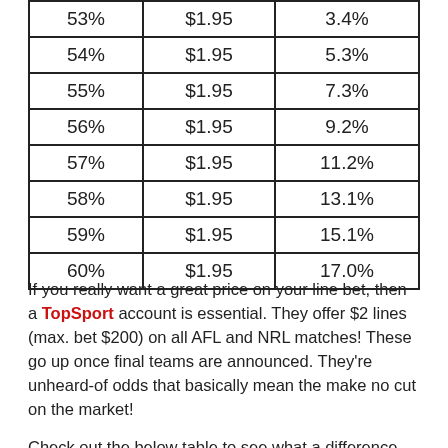| 53% | $1.95 | 3.4% |
| 54% | $1.95 | 5.3% |
| 55% | $1.95 | 7.3% |
| 56% | $1.95 | 9.2% |
| 57% | $1.95 | 11.2% |
| 58% | $1.95 | 13.1% |
| 59% | $1.95 | 15.1% |
| 60% | $1.95 | 17.0% |
If you really want a great price on your line bet, then a TopSport account is essential. They offer $2 lines (max. bet $200) on all AFL and NRL matches! These go up once final teams are announced. They're unheard-of odds that basically mean the make no cut on the market!
Check out the below table to see what a difference this makes (then go and get a TopSport account if you don't